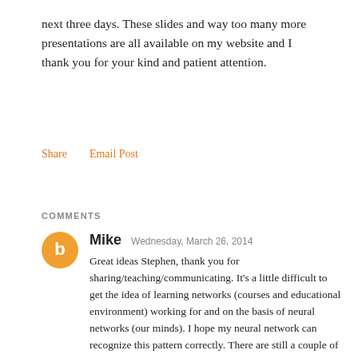next three days. These slides and way too many more presentations are all available on my website and I thank you for your kind and patient attention.
Share    Email Post
COMMENTS
Mike   Wednesday, March 26, 2014
Great ideas Stephen, thank you for sharing/teaching/communicating. It's a little difficult to get the idea of learning networks (courses and educational environment) working for and on the basis of neural networks (our minds). I hope my neural network can recognize this pattern correctly. There are still a couple of questions that make me write here: 1) Is it a kind of fractal structure when a part (a person's mind) is to some degree similar to the whole